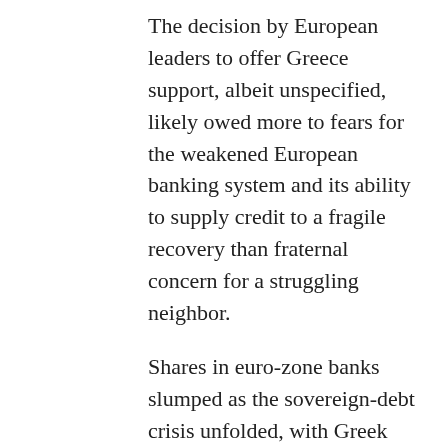The decision by European leaders to offer Greece support, albeit unspecified, likely owed more to fears for the weakened European banking system and its ability to supply credit to a fragile recovery than fraternal concern for a struggling neighbor.
Shares in euro-zone banks slumped as the sovereign-debt crisis unfolded, with Greek banks tumbling more than 50%. Aside from the political imperative for leaders to make a statement, the fear of contagion to the wider euro-zone economy was real.
Falling government-bond prices themselves aren't the biggest problem. Most European banks hold government bonds as available for sale assets, which means mark-to-market losses are recognized through the profit and loss